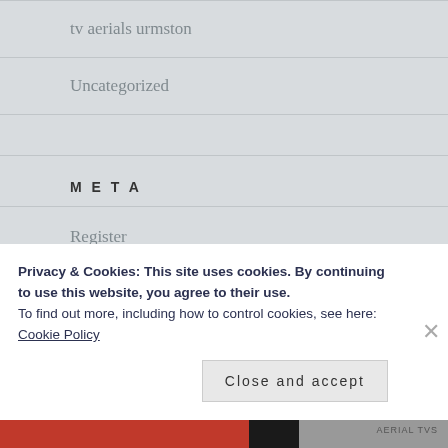tv aerials urmston
Uncategorized
META
Register
Log in
Entries feed
Privacy & Cookies: This site uses cookies. By continuing to use this website, you agree to their use.
To find out more, including how to control cookies, see here:
Cookie Policy
Close and accept